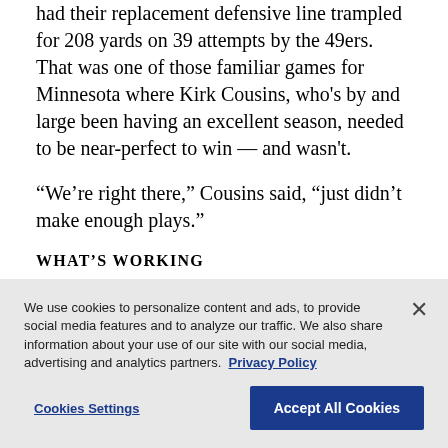had their replacement defensive line trampled for 208 yards on 39 attempts by the 49ers. That was one of those familiar games for Minnesota where Kirk Cousins, who's by and large been having an excellent season, needed to be near-perfect to win — and wasn't.
“We’re right there,” Cousins said, “just didn’t make enough plays.”
WHAT’S WORKING
We use cookies to personalize content and ads, to provide social media features and to analyze our traffic. We also share information about your use of our site with our social media, advertising and analytics partners. Privacy Policy